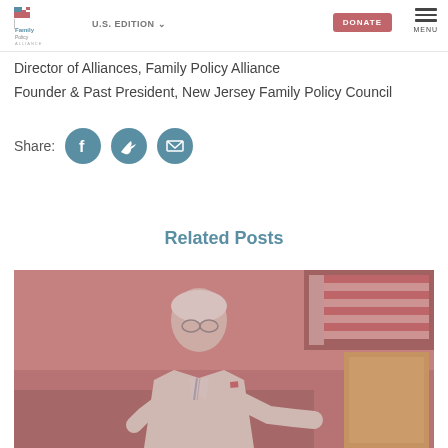Family Policy Alliance | U.S. EDITION | DONATE | MENU
Director of Alliances, Family Policy Alliance
Founder & Past President, New Jersey Family Policy Council
Share:
Related Posts
[Figure (photo): A man in a light-colored suit speaking at a podium, with an American flag visible in the background. The image has a reddish-pink overlay tint.]